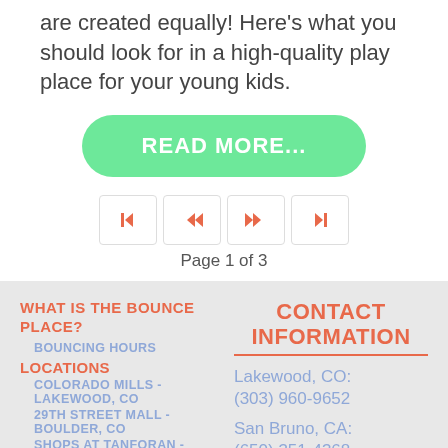are created equally! Here's what you should look for in a high-quality play place for your young kids.
READ MORE...
Page 1 of 3
WHAT IS THE BOUNCE PLACE?
BOUNCING HOURS
LOCATIONS
COLORADO MILLS - LAKEWOOD, CO
29TH STREET MALL - BOULDER, CO
SHOPS AT TANFORAN - SAN BRUNO, CA
CONTACT INFORMATION
Lakewood, CO: (303) 960-9652
San Bruno, CA: (650) 351-4368